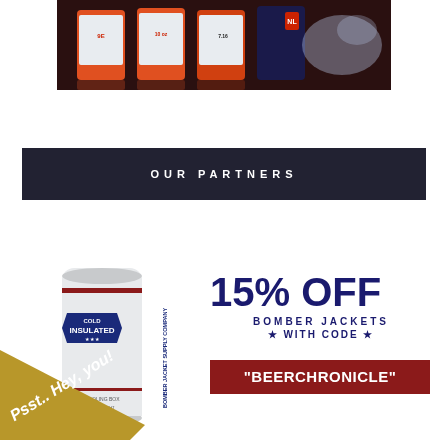[Figure (photo): Beer cans in an orange/red branding with water splash, multiple cans displayed from above on a reflective surface]
OUR PARTNERS
[Figure (photo): Bomber Jacket Supply Company insulated can cooler/koozie with COLD INSULATED badge and red/white design]
15% OFF BOMBER JACKETS ★ WITH CODE ★
"BEERCHRONICLE"
Psst.. Hey, you!